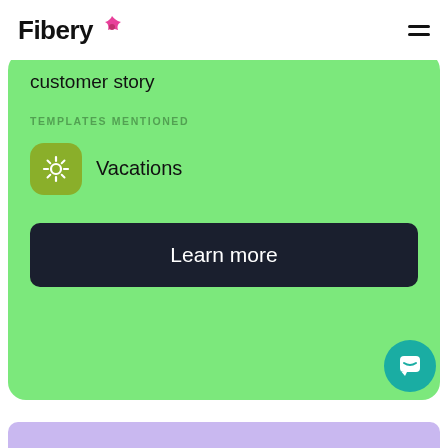Fibery
customer story
TEMPLATES MENTIONED
Vacations
Learn more